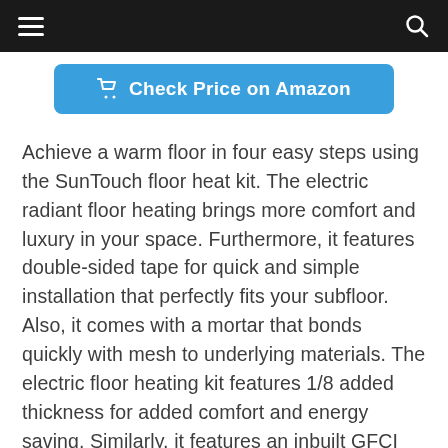≡  [search icon]
[Figure (other): Check Price on Amazon button with shopping cart icon on blue rounded rectangle background]
Achieve a warm floor in four easy steps using the SunTouch floor heat kit. The electric radiant floor heating brings more comfort and luxury in your space. Furthermore, it features double-sided tape for quick and simple installation that perfectly fits your subfloor. Also, it comes with a mortar that bonds quickly with mesh to underlying materials. The electric floor heating kit features 1/8 added thickness for added comfort and energy saving. Similarly, it features an inbuilt GFCI protection to provide maximum safety while installing the floor mat.